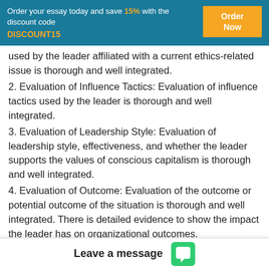Order your essay today and save 15% with the discount code DISCOUNT15
used by the leader affiliated with a current ethics-related issue is thorough and well integrated.
2. Evaluation of Influence Tactics: Evaluation of influence tactics used by the leader is thorough and well integrated.
3. Evaluation of Leadership Style: Evaluation of leadership style, effectiveness, and whether the leader supports the values of conscious capitalism is thorough and well integrated.
4. Evaluation of Outcome: Evaluation of the outcome or potential outcome of the situation is thorough and well integrated. There is detailed evidence to show the impact the leader has on organizational outcomes.
5. Servant Leadership Discussion: A discussion of servant leadership, how the situation would be different with respect to power bases, influence tactics, and leadership style, as well as a discussion of how personal values a...